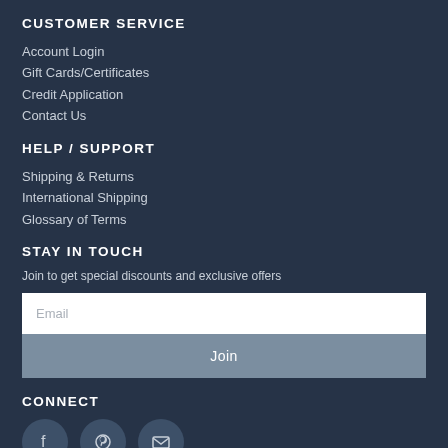CUSTOMER SERVICE
Account Login
Gift Cards/Certificates
Credit Application
Contact Us
HELP / SUPPORT
Shipping & Returns
International Shipping
Glossary of Terms
STAY IN TOUCH
Join to get special discounts and exclusive offers
[Figure (screenshot): Email input field with placeholder text 'Email' and a 'Join' button below it]
CONNECT
[Figure (infographic): Three social media icons in circular buttons: Facebook, Pinterest, and Email/Mail]